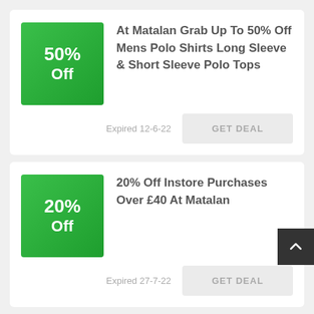[Figure (infographic): Green badge showing '50% Off']
At Matalan Grab Up To 50% Off Mens Polo Shirts Long Sleeve & Short Sleeve Polo Tops
Expired 12-6-22
GET DEAL
[Figure (infographic): Green badge showing '20% Off']
20% Off Instore Purchases Over £40 At Matalan
Expired 27-7-22
GET DEAL